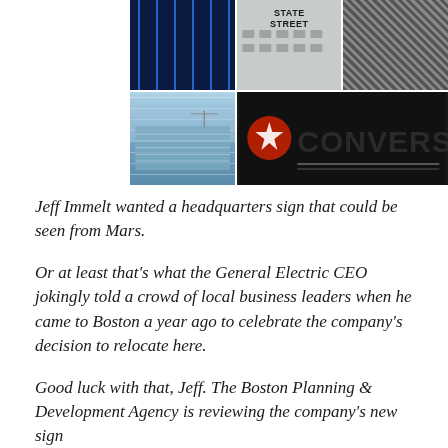[Figure (photo): Collage of five building/sign photographs arranged in two rows: top row shows a dark blue building with vertical stripes (Verizon?), a State Street building sign, and a metal mesh/grid facade; bottom row shows a modern glass-and-steel building under construction and a large CONVERSE sign on a dark background.]
Jeff Immelt wanted a headquarters sign that could be seen from Mars.
Or at least that's what the General Electric CEO jokingly told a crowd of local business leaders when he came to Boston a year ago to celebrate the company's decision to relocate here.
Good luck with that, Jeff. The Boston Planning & Development Agency is reviewing the company's new sign